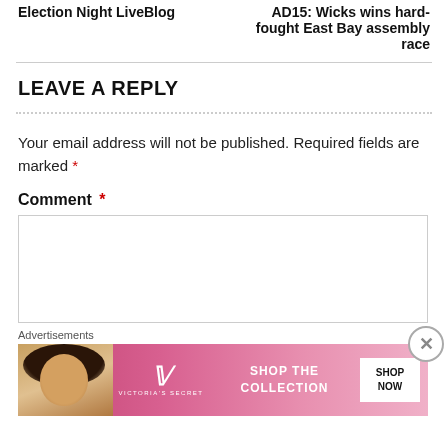Election Night LiveBlog
AD15: Wicks wins hard-fought East Bay assembly race
LEAVE A REPLY
Your email address will not be published. Required fields are marked *
Comment *
Advertisements
[Figure (photo): Victoria's Secret advertisement banner with a woman model and 'SHOP THE COLLECTION / SHOP NOW' text]